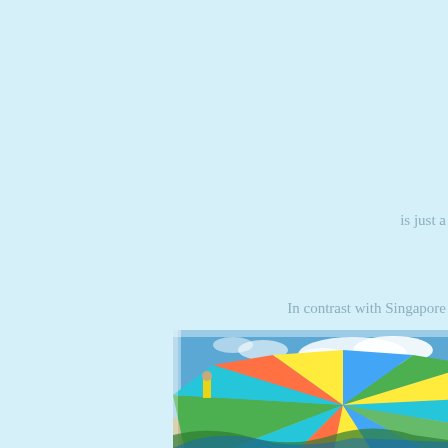is just a
In contrast with Singapore
[Figure (photo): Colorful beach umbrella with blue sky and clouds in the background. The umbrella has stripes of green, teal, orange, yellow, and blue. A person in yellow can be seen in the background.]